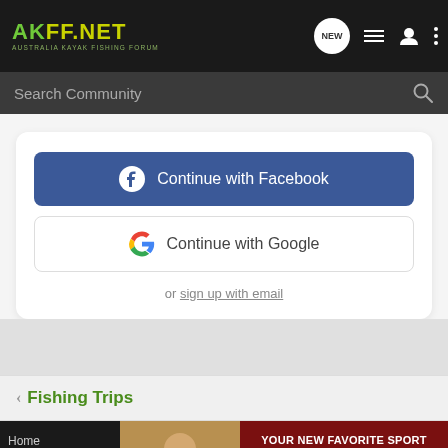AKFF.NET - AUSTRALIA KAYAK FISHING FORUM
Search Community
[Figure (screenshot): Continue with Facebook button (blue)]
[Figure (screenshot): Continue with Google button (white)]
or sign up with email
Fishing Trips
Home
Busine
Grow
[Figure (photo): Advertisement banner: YOUR NEW FAVORITE SPORT - EXPLORE HOW TO RESPONSIBLY PARTICIPATE IN THE SHOOTING SPORTS. START HERE!]